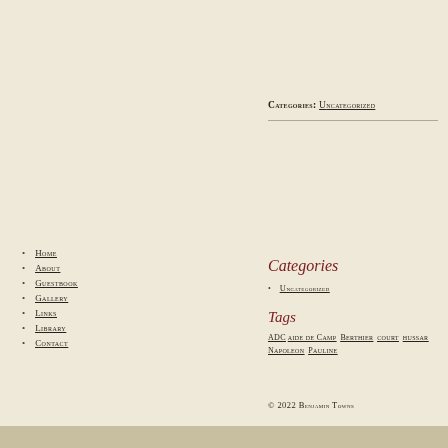Categories: Uncategorized
Home
About
Guestbook
Gallery
Links
Library
Contact
Categories
Uncategorized
Tags
ADC aide de Camp Berthier court hussar Napoleon Pauline
© 2022 Benjamin Towns